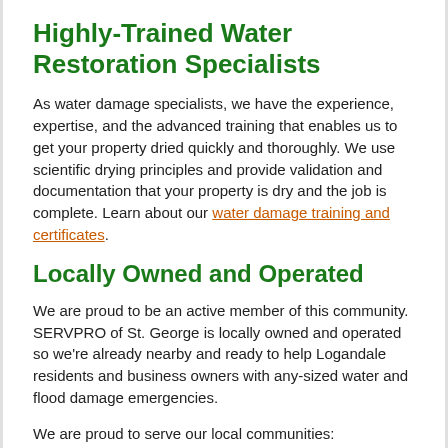Highly-Trained Water Restoration Specialists
As water damage specialists, we have the experience, expertise, and the advanced training that enables us to get your property dried quickly and thoroughly. We use scientific drying principles and provide validation and documentation that your property is dry and the job is complete. Learn about our water damage training and certificates.
Locally Owned and Operated
We are proud to be an active member of this community. SERVPRO of St. George is locally owned and operated so we're already nearby and ready to help Logandale residents and business owners with any-sized water and flood damage emergencies.
We are proud to serve our local communities:
St. George, UT
Mesquite, NV
Washington, UT